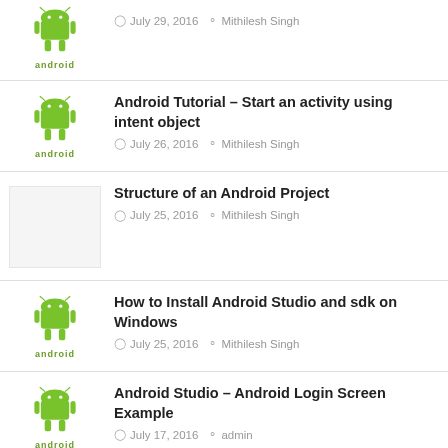July 29, 2016 · Mithilesh Singh
Android Tutorial – Start an activity using intent object · July 26, 2016 · Mithilesh Singh
Structure of an Android Project · July 25, 2016 · Mithilesh Singh
How to Install Android Studio and sdk on Windows · July 25, 2016 · Mithilesh Singh
Android Studio – Android Login Screen Example · July 17, 2016 · admin